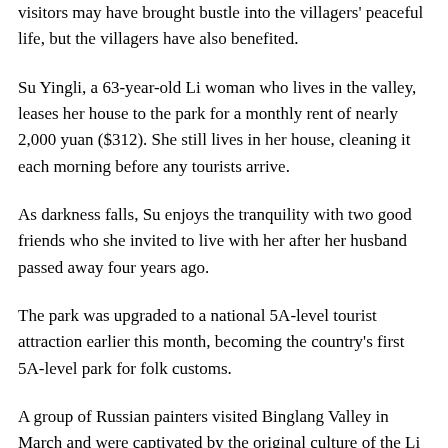visitors may have brought bustle into the villagers' peaceful life, but the villagers have also benefited.
Su Yingli, a 63-year-old Li woman who lives in the valley, leases her house to the park for a monthly rent of nearly 2,000 yuan ($312). She still lives in her house, cleaning it each morning before any tourists arrive.
As darkness falls, Su enjoys the tranquility with two good friends who she invited to live with her after her husband passed away four years ago.
The park was upgraded to a national 5A-level tourist attraction earlier this month, becoming the country's first 5A-level park for folk customs.
A group of Russian painters visited Binglang Valley in March and were captivated by the original culture of the Li people and their mysterious totem art. The Russian artists described Binglang Valley as a "natural